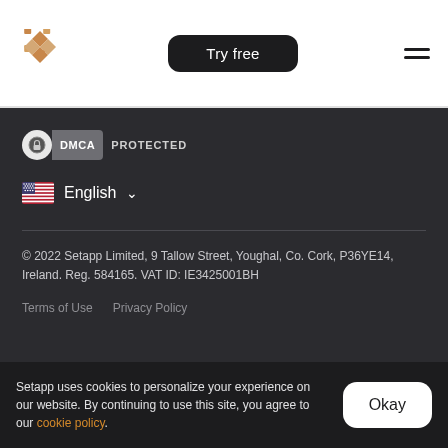Try free
[Figure (logo): Setapp diamond logo in orange/gold tones]
DMCA PROTECTED
English
© 2022 Setapp Limited, 9 Tallow Street, Youghal, Co. Cork, P36YE14, Ireland. Reg. 584165. VAT ID: IE3425001BH
Terms of Use   Privacy Policy
Setapp uses cookies to personalize your experience on our website. By continuing to use this site, you agree to our cookie policy.